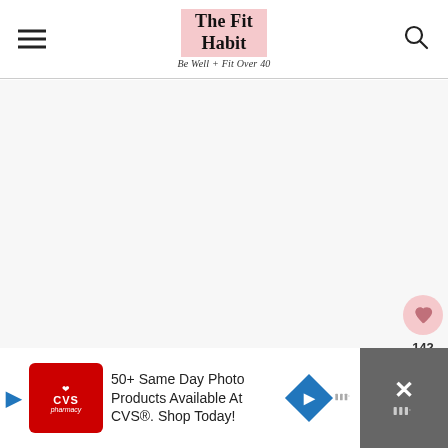The Fit Habit — Be Well + Fit Over 40
[Figure (screenshot): Blank/loading main content area of The Fit Habit blog website]
[Figure (infographic): Floating heart (like) button with count 142 and share button on right side]
[Figure (infographic): CVS Pharmacy advertisement banner: '50+ Same Day Photo Products Available At CVS®. Shop Today!' with close button]